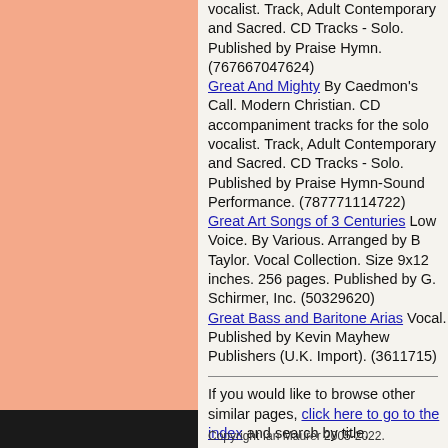vocalist. Track, Adult Contemporary and Sacred. CD Tracks - Solo. Published by Praise Hymn. (767667047624)
Great And Mighty By Caedmon's Call. Modern Christian. CD accompaniment tracks for the solo vocalist. Track, Adult Contemporary and Sacred. CD Tracks - Solo. Published by Praise Hymn-Sound Performance. (787771114722)
Great Art Songs of 3 Centuries Low Voice. By Various. Arranged by B Taylor. Vocal Collection. Size 9x12 inches. 256 pages. Published by G. Schirmer, Inc. (50329620)
Great Bass and Baritone Arias Vocal. Published by Kevin Mayhew Publishers (U.K. Import). (3611715)
If you would like to browse other similar pages, click here to go to the index and search by title.
Copyright Ian Maurer 2005-2022.